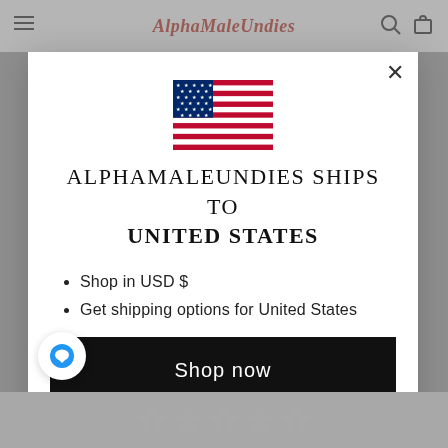AlphaMaleUndies
[Figure (screenshot): Modal popup on AlphaMaleUndies website showing a US flag, shipping message, list items, and shop now button]
ALPHAMALEUNDIES SHIPS TO UNITED STATES
Shop in USD $
Get shipping options for United States
Shop now
Change shipping country